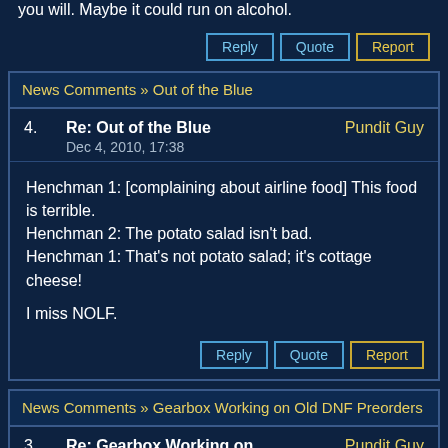…like the branding for them. A calling card, if you will. Maybe it could run on alcohol.
Reply | Quote | Report
News Comments » Out of the Blue
4.   Re: Out of the Blue   Pundit Guy
Dec 4, 2010, 17:38
Henchman 1: [complaining about airline food] This food is terrible.
Henchman 2: The potato salad isn't bad.
Henchman 1: That's not potato salad; it's cottage cheese!

I miss NOLF.
Reply | Quote | Report
News Comments » Gearbox Working on Old DNF Preorders
3.   Re: Gearbox Working on Old DNF Preorders   Pundit Guy
Oct 8, 2010, 22:42